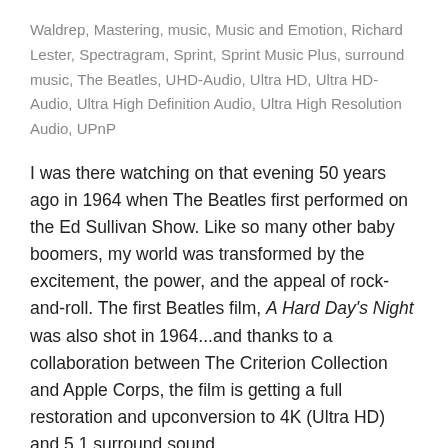Waldrep, Mastering, music, Music and Emotion, Richard Lester, Spectragram, Sprint, Sprint Music Plus, surround music, The Beatles, UHD-Audio, Ultra HD, Ultra HD-Audio, Ultra High Definition Audio, Ultra High Resolution Audio, UPnP
I was there watching on that evening 50 years ago in 1964 when The Beatles first performed on the Ed Sullivan Show. Like so many other baby boomers, my world was transformed by the excitement, the power, and the appeal of rock-and-roll. The first Beatles film, A Hard Day's Night was also shot in 1964...and thanks to a collaboration between The Criterion Collection and Apple Corps, the film is getting a full restoration and upconversion to 4K (Ultra HD) and 5.1 surround sound.
The groundbreaking film was directed by Richard Lester and released by United Artists. The black and